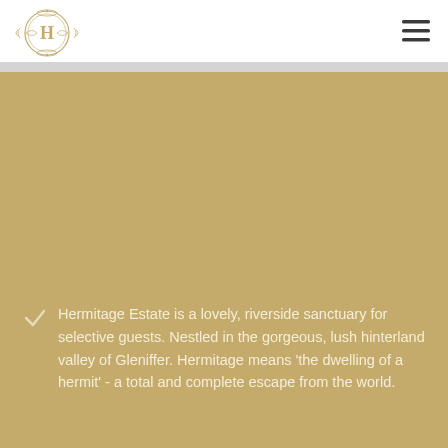[Figure (logo): Hermitage Estate ornate circular logo with decorative H in center and flourishes]
Hermitage Estate is a lovely, riverside sanctuary for selective guests. Nestled in the gorgeous, lush hinterland valley of Gleniffer. Hermitage means 'the dwelling of a hermit' - a total and complete escape from the world.